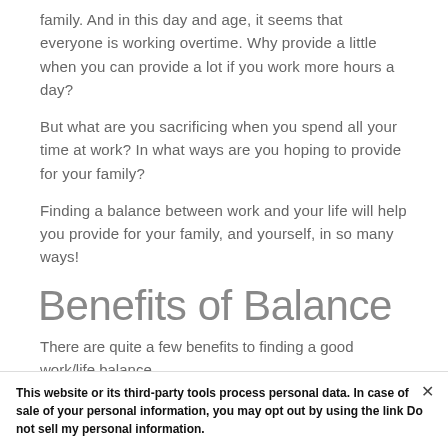family. And in this day and age, it seems that everyone is working overtime. Why provide a little when you can provide a lot if you work more hours a day?
But what are you sacrificing when you spend all your time at work? In what ways are you hoping to provide for your family?
Finding a balance between work and your life will help you provide for your family, and yourself, in so many ways!
Benefits of Balance
There are quite a few benefits to finding a good work/life balance.
Health
This website or its third-party tools process personal data. In case of sale of your personal information, you may opt out by using the link Do not sell my personal information.